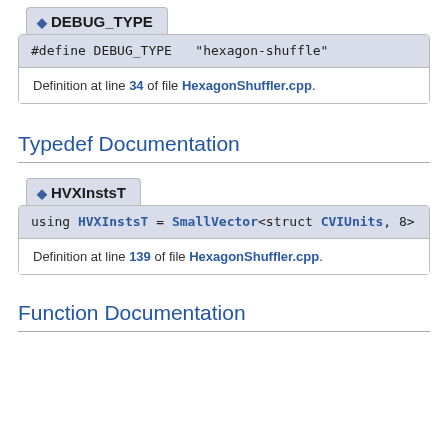◆ DEBUG_TYPE
#define DEBUG_TYPE   "hexagon-shuffle"
Definition at line 34 of file HexagonShuffler.cpp.
Typedef Documentation
◆ HVXInstsT
using HVXInstsT = SmallVector<struct CVIUnits, 8>
Definition at line 139 of file HexagonShuffler.cpp.
Function Documentation